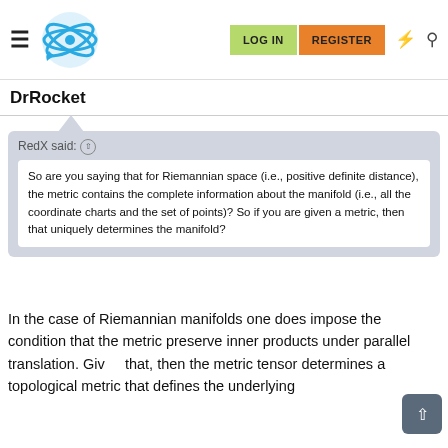DrRocket — Physics Forums navigation bar with LOG IN and REGISTER buttons
DrRocket
RedX said: ↑
So are you saying that for Riemannian space (i.e., positive definite distance), the metric contains the complete information about the manifold (i.e., all the coordinate charts and the set of points)? So if you are given a metric, then that uniquely determines the manifold?
In the case of Riemannian manifolds one does impose the condition that the metric preserve inner products under parallel translation. Given that, then the metric tensor determines a topological metric that defines the underlying